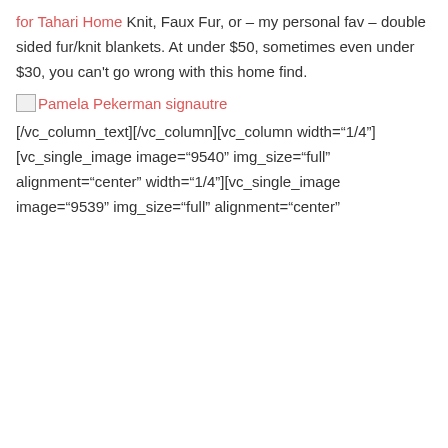for Tahari Home Knit, Faux Fur, or – my personal fav – double sided fur/knit blankets. At under $50, sometimes even under $30, you can't go wrong with this home find.
[Figure (other): Broken image icon with alt text 'Pamela Pekerman signautre' shown as a link]
[/vc_column_text][/vc_column][vc_column width="1/4"][vc_single_image image="9540" img_size="full" alignment="center" onclick="img_link_large"][/vc_column][vc_column width="1/4"][vc_single_image image="9539" img_size="full" alignment="center" onclick="img_link_large"][/vc_column][/vc_row]